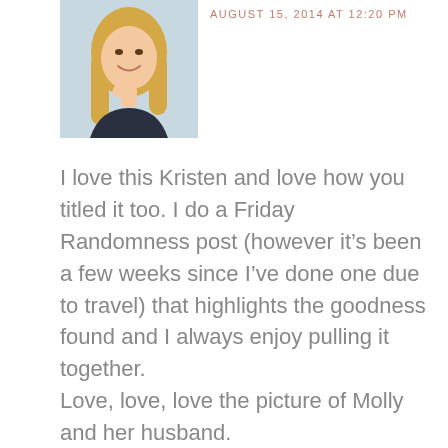[Figure (photo): Headshot of a smiling woman with long blonde hair wearing a dark top, posed with hand near chin]
AUGUST 15, 2014 AT 12:20 PM
I love this Kristen and love how you titled it too. I do a Friday Randomness post (however it’s been a few weeks since I’ve done one due to travel) that highlights the goodness found and I always enjoy pulling it together.
Love, love, love the picture of Molly and her husband.
And that first sweet picture of yours too.
It was so wonderful to meet you in real life.
One of my favorite moments from the weekend.